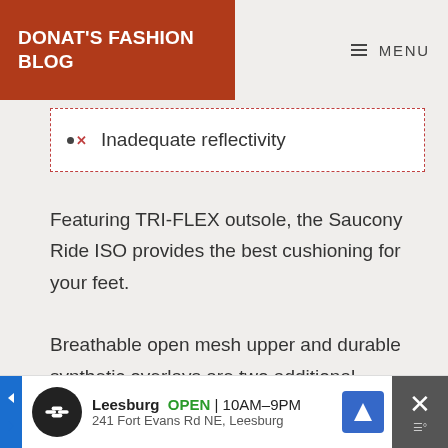DONAT'S FASHION BLOG  MENU
Inadequate reflectivity
Featuring TRI-FLEX outsole, the Saucony Ride ISO provides the best cushioning for your feet. Breathable open mesh upper and durable synthetic overlays are two additional highlights of this shoe.
Leesburg OPEN 10AM–9PM 241 Fort Evans Rd NE, Leesburg